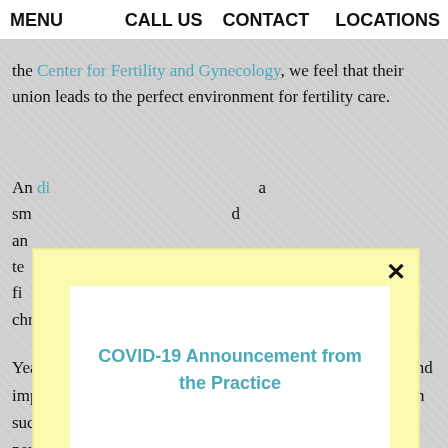MENU    CALL US    CONTACT    LOCATIONS
the Center for Fertility and Gynecology, we feel that their union leads to the perfect environment for fertility care.
An... a sm... d an... te... fi... chromosomal screening.
[Figure (other): COVID-19 Announcement modal overlay popup with yellow background and white inner box, showing title 'COVID-19 Announcement from the Practice' in teal, with a close button (×) in top right corner.]
Years of training, multiple degrees, ongoing certifications and impeccable success rates are ensure our technical prowess in such complex endeavors, but our honed interpersonal skills permit the appropriate application of such powerful technology.   This is important, because...